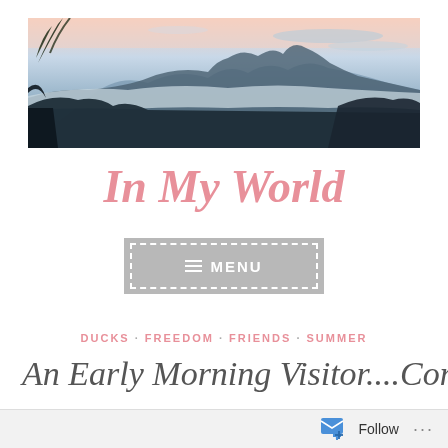[Figure (photo): Panoramic landscape photo of mountains with clouds/mist and a pink-tinted sky at early morning or dusk]
In My World
MENU
DUCKS · FREEDOM · FRIENDS · SUMMER
An Early Morning Visitor....Come